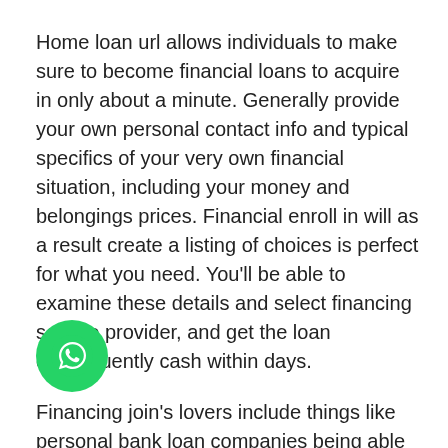Home loan url allows individuals to make sure to become financial loans to acquire in only about a minute. Generally provide your own personal contact info and typical specifics of your very own financial situation, including your money and belongings prices. Financial enroll in will as a result create a listing of choices is perfect for what you need. You'll be able to examine these details and select financing service provider, and get the loan consequently cash within days.
Financing join's lovers include things like personal bank loan companies being able to use people with very bad loan reports. This system isn't going to hit your credit rating, in order to really think about your debt odds swiftly and with no menace.
is clearly a company that offers online unique finance and other services like consumer credit score standing spying in addition to prepaid charge cards. The particular business was an exemplary accentuate consumers who would like to perform
[Figure (logo): WhatsApp floating button icon — green circle with white WhatsApp phone/chat logo]